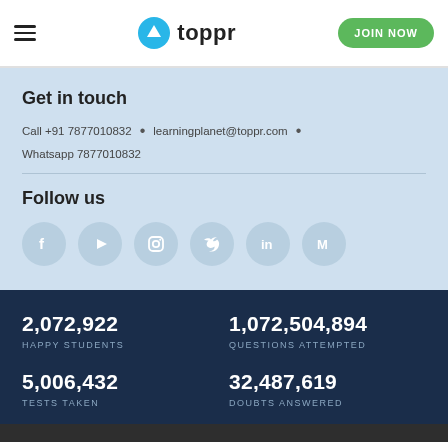toppr — JOIN NOW
Get in touch
Call +91 7877010832 • learningplanet@toppr.com • Whatsapp 7877010832
Follow us
[Figure (infographic): Six social media icons in grey circles: Facebook, YouTube, Instagram, Twitter, LinkedIn, Medium]
2,072,922
HAPPY STUDENTS
1,072,504,894
QUESTIONS ATTEMPTED
5,006,432
TESTS TAKEN
32,487,619
DOUBTS ANSWERED